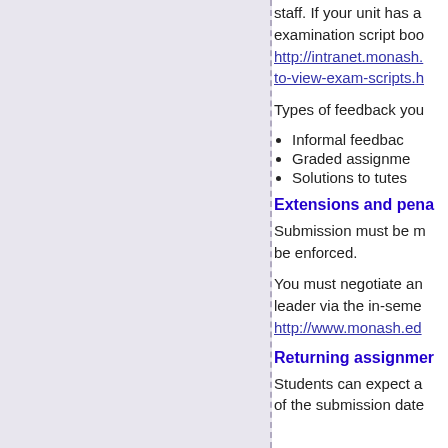staff. If your unit has a examination script boo http://intranet.monash. to-view-exam-scripts.h
Types of feedback you
Informal feedbac
Graded assignme
Solutions to tutes
Extensions and pena
Submission must be m be enforced.
You must negotiate an leader via the in-seme http://www.monash.ed
Returning assignmer
Students can expect a of the submission date